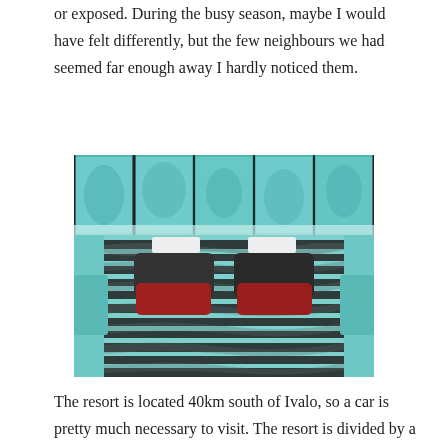or exposed. During the busy season, maybe I would have felt differently, but the few neighbours we had seemed far enough away I hardly noticed them.
[Figure (photo): Interior of a glass igloo showing a bed with zebra-print bedding and red and black pillows, with snow-covered trees visible through large glass panels above.]
The resort is located 40km south of Ivalo, so a car is pretty much necessary to visit. The resort is divided by a river, although there is a bridge that allows access to both sides. The glass igloos are located on the south side of the river, and the log cabins also available for